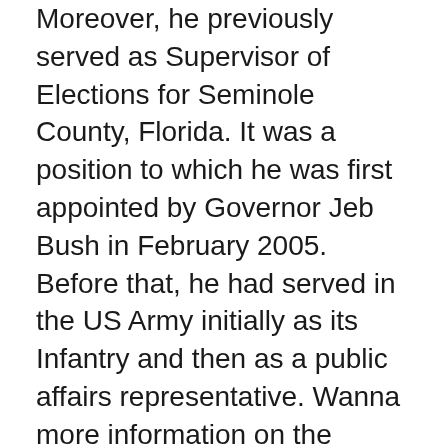Moreover, he previously served as Supervisor of Elections for Seminole County, Florida. It was a position to which he was first appointed by Governor Jeb Bush in February 2005. Before that, he had served in the US Army initially as its Infantry and then as a public affairs representative. Wanna more information on the senator then keep on scrolling.